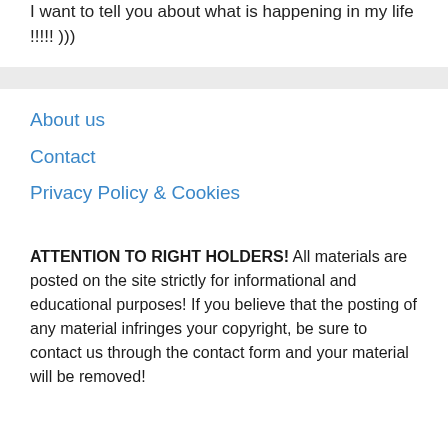I want to tell you about what is happening in my life !!!!! )))
About us
Contact
Privacy Policy & Cookies
ATTENTION TO RIGHT HOLDERS! All materials are posted on the site strictly for informational and educational purposes! If you believe that the posting of any material infringes your copyright, be sure to contact us through the contact form and your material will be removed!